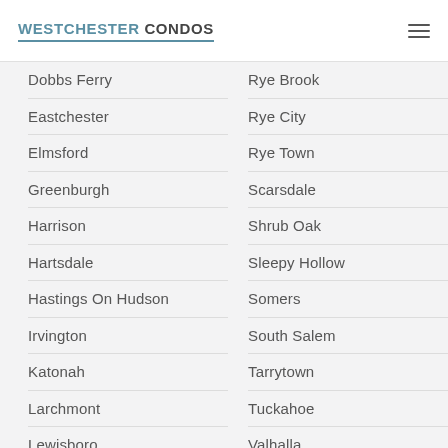WESTCHESTER CONDOS
Dobbs Ferry
Eastchester
Elmsford
Greenburgh
Harrison
Hartsdale
Hastings On Hudson
Irvington
Katonah
Larchmont
Lewisboro
Rye Brook
Rye City
Rye Town
Scarsdale
Shrub Oak
Sleepy Hollow
Somers
South Salem
Tarrytown
Tuckahoe
Valhalla